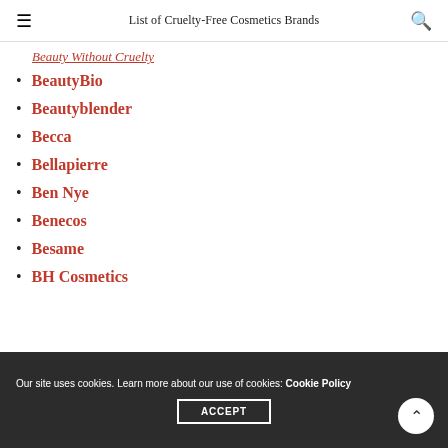List of Cruelty-Free Cosmetics Brands
Beauty Without Cruelty
BeautyBio
Beautyblender
Becca
Bellapierre
Ben Nye
Benecos
Besame
BH Cosmetics
Our site uses cookies. Learn more about our use of cookies: Cookie Policy